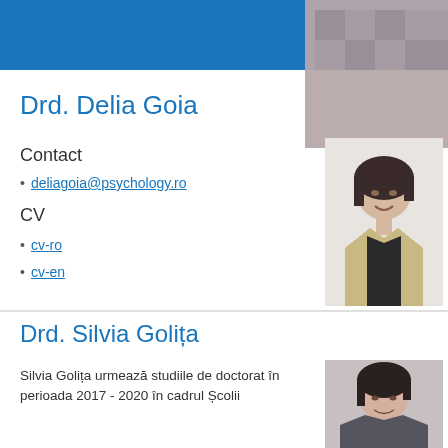[Figure (photo): Partial photo of a person visible in the top-right corner, appearing to be a previous profile entry]
Drd. Delia Goia
Contact
deliagoia@psychology.ro
CV
cv-ro
cv-en
[Figure (photo): Professional headshot of Drd. Delia Goia — woman with short dark hair, smiling, wearing a beige blazer over a black top]
Drd. Silvia Golița
Silvia Golița urmează studiile de doctorat în perioada 2017 - 2020 în cadrul Școlii
[Figure (photo): Partial headshot of Silvia Golița at the bottom-right of the page]